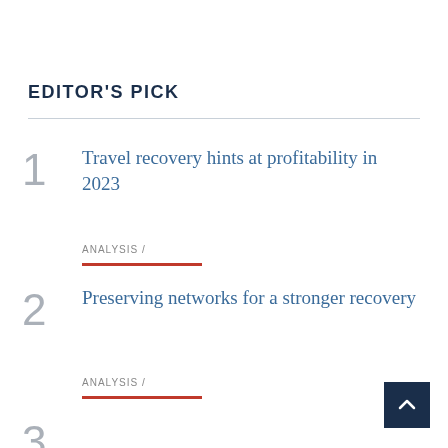EDITOR'S PICK
1 Travel recovery hints at profitability in 2023
ANALYSIS /
2 Preserving networks for a stronger recovery
ANALYSIS /